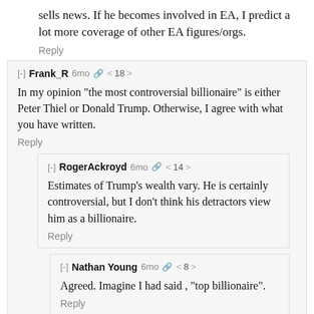sells news. If he becomes involved in EA, I predict a lot more coverage of other EA figures/orgs.
Reply
[-] Frank_R  6mo  < 18 >
In my opinion "the most controversial billionaire" is either Peter Thiel or Donald Trump. Otherwise, I agree with what you have written.
Reply
[-] RogerAckroyd  6mo  < 14 >
Estimates of Trump's wealth vary. He is certainly controversial, but I don't think his detractors view him as a billionaire.
Reply
[-] Nathan Young  6mo  < 8 >
Agreed. Imagine I had said , "top billionaire".
Reply